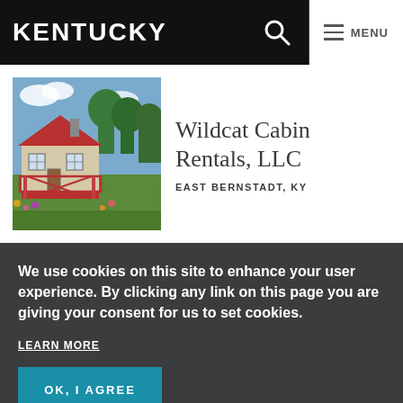KENTUCKY  MENU
[Figure (photo): Exterior photo of a small white/cream farmhouse cabin with red roof and red front porch railings, surrounded by green lawn and garden flowers, blue sky with trees in background.]
Wildcat Cabin Rentals, LLC
EAST BERNSTADT, KY
We use cookies on this site to enhance your user experience. By clicking any link on this page you are giving your consent for us to set cookies.
LEARN MORE
OK, I AGREE